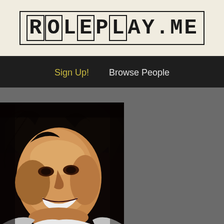ROLEPLAY.ME
Sign Up!   Browse People
[Figure (photo): Portrait photo of a person with curly black hair, smiling, wearing a white shirt and jacket. Dark background.]